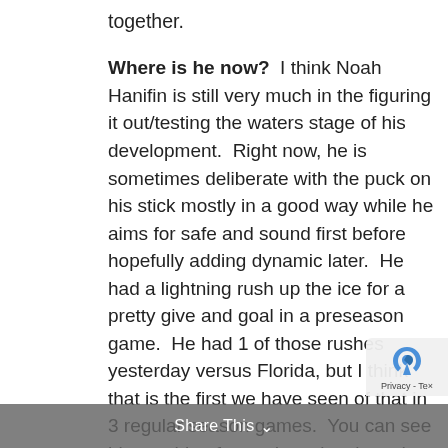together.
Where is he now?  I think Noah Hanifin is still very much in the figuring it out/testing the waters stage of his development.  Right now, he is sometimes deliberate with the puck on his stick mostly in a good way while he aims for safe and sound first before hopefully adding dynamic later.  He had a lightning rush up the ice for a pretty give and goal in a preseason game.  He had 1 of those rushes yesterday versus Florida, but I think that is the first we have seen of that in 3 regular season games.  You can see him pushing forward cautiously and assessing things like how quickly passing lanes close up, how much room he needs to skate, when he needs to get rid of the puck
Share This